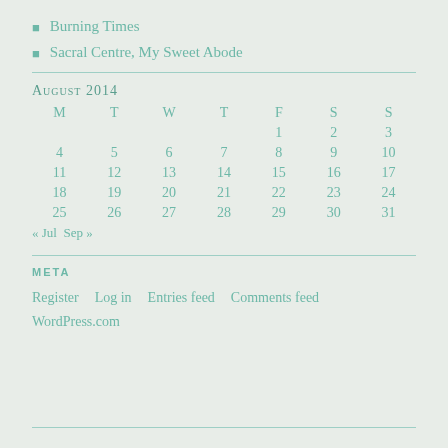Burning Times
Sacral Centre, My Sweet Abode
August 2014
| M | T | W | T | F | S | S |
| --- | --- | --- | --- | --- | --- | --- |
|  |  |  |  | 1 | 2 | 3 |
| 4 | 5 | 6 | 7 | 8 | 9 | 10 |
| 11 | 12 | 13 | 14 | 15 | 16 | 17 |
| 18 | 19 | 20 | 21 | 22 | 23 | 24 |
| 25 | 26 | 27 | 28 | 29 | 30 | 31 |
« Jul  Sep »
META
Register   Log in   Entries feed   Comments feed   WordPress.com